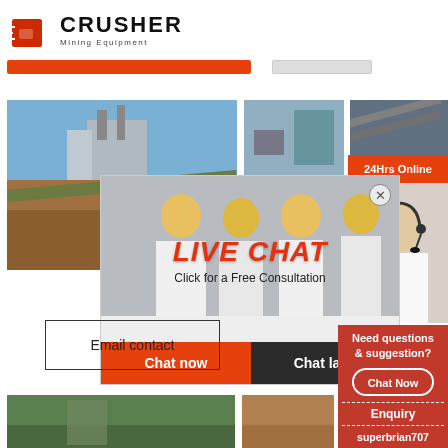[Figure (logo): Crusher Mining Equipment logo with red shopping bag icon and bold black CRUSHER text, Mining Equipment subtitle]
[Figure (photo): Mining equipment site photo (left) and two smaller mining/conveyor photos (top right)]
[Figure (screenshot): Live chat popup overlay with workers in hard hats, LIVE CHAT heading, Click for a Free Consultation text, Chat now and Chat later buttons, close X button]
[Figure (photo): Customer service woman with headset on right side, 24Hrs Online orange label]
Email contact
Need questions & suggestion?
Chat Now
Enquiry
superbrian707@gmail.com
[Figure (photo): Bottom left: aerial photo of quarry/mining site; bottom right: partial view of another mining scene]